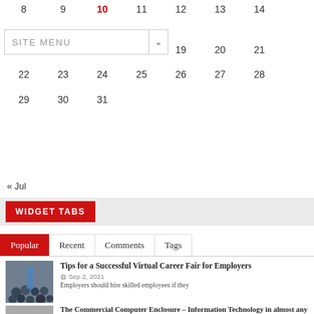| 8 | 9 | 10 | 11 | 12 | 13 | 14 |
| 15 | 16 | 17 | 18 | 19 | 20 | 21 |
| 22 | 23 | 24 | 25 | 26 | 27 | 28 |
| 29 | 30 | 31 |  |  |  |  |
« Jul
WIDGET TABS
Popular | Recent | Comments | Tags
[Figure (photo): Crowd at a career fair event]
Tips for a Successful Virtual Career Fair for Employers
Sep 2, 2021
Employers should hire skilled employees if they
[Figure (illustration): Old desktop computer tower and monitor illustration]
The Commercial Computer Enclosure – Information Technology in almost any Location
Mar 19, 2018
There's no requirement for me to let